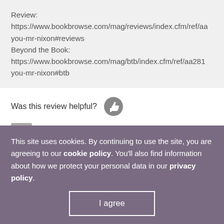Review:
https://www.bookbrowse.com/mag/reviews/index.cfm/ref/aa
you-mr-nixon#reviews
Beyond the Book:
https://www.bookbrowse.com/mag/btb/index.cfm/ref/aa281
you-mr-nixon#btb
Was this review helpful?
amy b, Librarian
[Figure (other): 3 out of 5 stars rating (3 filled teal stars, 2 empty stars)]
This site uses cookies. By continuing to use the site, you are agreeing to our cookie policy. You'll also find information about how we protect your personal data in our privacy policy.
I agree